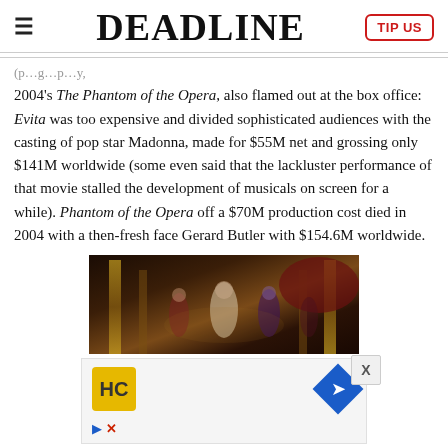DEADLINE
2004’s The Phantom of the Opera, also flamed out at the box office: Evita was too expensive and divided sophisticated audiences with the casting of pop star Madonna, made for $55M net and grossing only $141M worldwide (some even said that the lackluster performance of that movie stalled the development of musicals on screen for a while). Phantom of the Opera off a $70M production cost died in 2004 with a then-fresh face Gerard Butler with $154.6M worldwide.
[Figure (photo): Scene from a musical film showing performers in ornate theatrical costumes on a grand stage set with golden columns and dark atmospheric lighting]
[Figure (infographic): Advertisement block showing HC logo in yellow square and blue diamond navigation icon]